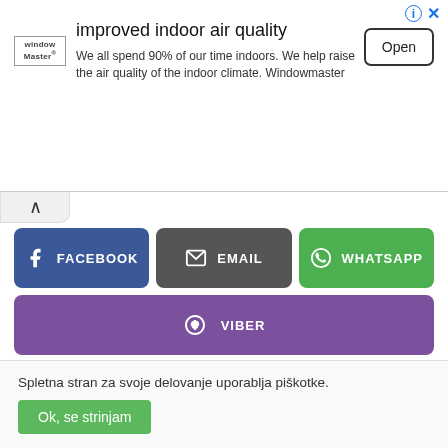[Figure (screenshot): Advertisement banner for WindowMaster with title 'improved indoor air quality', logo, body text, and Open button]
improved indoor air quality
We all spend 90% of our time indoors. We help raise the air quality of the indoor climate. Windowmaster
[Figure (infographic): Social share buttons: Facebook, Email, WhatsApp, Viber]
POGLEJ СЪЩО:
Spletna stran za svoje delovanje uporablja piškotke.
Ok, se strinjam